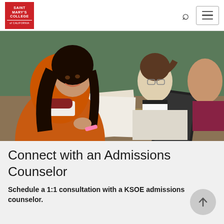[Figure (logo): Saint Mary's College of California red logo in header]
[Figure (photo): Students studying in a classroom; woman in orange jacket in foreground looking at papers, other students with books in background near chalkboard]
Connect with an Admissions Counselor
Schedule a 1:1 consultation with a KSOE admissions counselor.